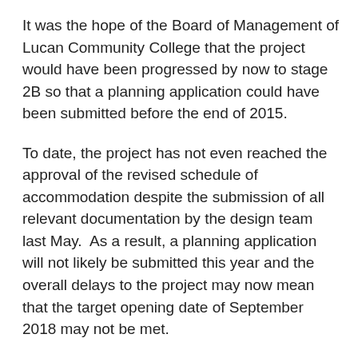It was the hope of the Board of Management of Lucan Community College that the project would have been progressed by now to stage 2B so that a planning application could have been submitted before the end of 2015.
To date, the project has not even reached the approval of the revised schedule of accommodation despite the submission of all relevant documentation by the design team last May.  As a result, a planning application will not likely be submitted this year and the overall delays to the project may now mean that the target opening date of September 2018 may not be met.
I don’t understand why the Department of Education & Skills has not authorised the project to progress to Stage 2A given that this project is included in the